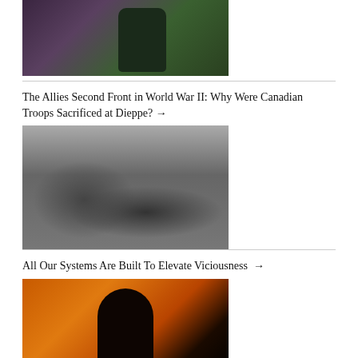[Figure (photo): Partial image of two figures, cropped at top of page]
The Allies Second Front in World War II: Why Were Canadian Troops Sacrificed at Dieppe? →
[Figure (photo): Black and white photograph of soldiers marching in a city street, World War II]
All Our Systems Are Built To Elevate Viciousness →
[Figure (photo): Dark silhouette of a person against an orange fiery background]
Ben Tóth: The Long March Of New China →
[Figure (photo): Black and white photograph of a group of soldiers, Long March of China]